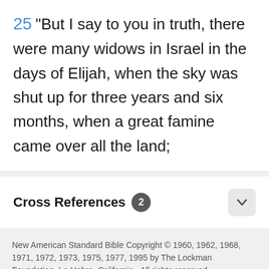25 "But I say to you in truth, there were many widows in Israel in the days of Elijah, when the sky was shut up for three years and six months, when a great famine came over all the land;
Cross References 2
New American Standard Bible Copyright © 1960, 1962, 1968, 1971, 1972, 1973, 1975, 1977, 1995 by The Lockman Foundation, La Habra, California.  All rights reserved.
FREE 10-Day Prayer Guide